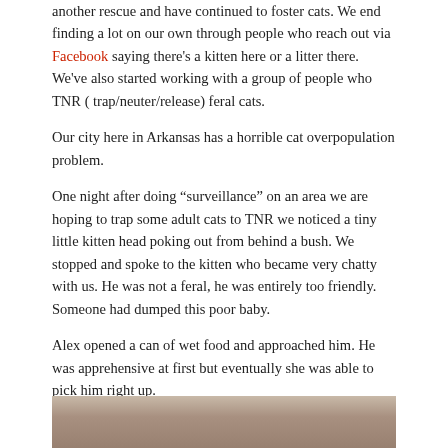another rescue and have continued to foster cats. We end finding a lot on our own through people who reach out via Facebook saying there's a kitten here or a litter there. We've also started working with a group of people who TNR ( trap/neuter/release) feral cats.
Our city here in Arkansas has a horrible cat overpopulation problem.
One night after doing "surveillance" on an area we are hoping to trap some adult cats to TNR we noticed a tiny little kitten head poking out from behind a bush. We stopped and spoke to the kitten who became very chatty with us. He was not a feral, he was entirely too friendly. Someone had dumped this poor baby.
Alex opened a can of wet food and approached him. He was apprehensive at first but eventually she was able to pick him right up.
Alex came back to the car with him and was nearly in tears. "Look at him," she said.
It nearly took my breath away.
This four month old baby looked exactly like Sebastian.
He’s been with us for three days now. He’s a goofy thing. And I swear walking through our apartment and running into him I think it’s Sebastian. I don’t know that we will keep Cooper but I will be forever grateful to him, for reminding me of my sweet boy and that I serve a purpose here.
[Figure (photo): Bottom strip showing a partial photo of a cat, brownish/tan tones]